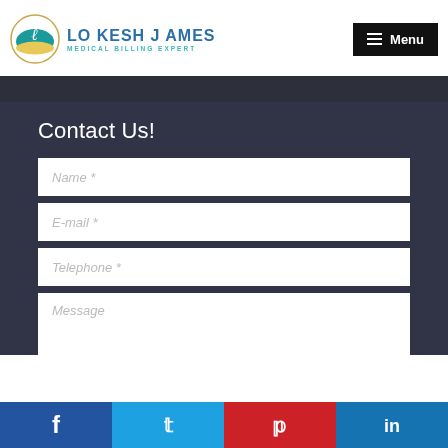[Figure (logo): Lokesh James Medical Billing Expert logo with circular emblem and text]
Menu
Contact Us!
Name *
E-mail *
Telephone *
Message
f  t  p  in